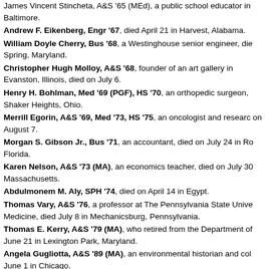James Vincent Stincheta, A&S '65 (MEd), a public school educator in Baltimore.
Andrew F. Eikenberg, Engr '67, died April 21 in Harvest, Alabama.
William Doyle Cherry, Bus '68, a Westinghouse senior engineer, died in Silver Spring, Maryland.
Christopher Hugh Molloy, A&S '68, founder of an art gallery in Evanston, Illinois, died on July 6.
Henry H. Bohlman, Med '69 (PGF), HS '70, an orthopedic surgeon, died in Shaker Heights, Ohio.
Merrill Egorin, A&S '69, Med '73, HS '75, an oncologist and researcher, died on August 7.
Morgan S. Gibson Jr., Bus '71, an accountant, died on July 24 in Rockledge, Florida.
Karen Nelson, A&S '73 (MA), an economics teacher, died on July 30 in Massachusetts.
Abdulmonem M. Aly, SPH '74, died on April 14 in Egypt.
Thomas Vary, A&S '76, a professor at The Pennsylvania State University College of Medicine, died July 8 in Mechanicsburg, Pennsylvania.
Thomas E. Kerry, A&S '79 (MA), who retired from the Department of Defense, died June 21 in Lexington Park, Maryland.
Angela Gugliotta, A&S '89 (MA), an environmental historian and college professor, died June 1 in Chicago.
Glenn Lapp, Nurs, '95, of Lancaster, Pennsylvania, died on August 5